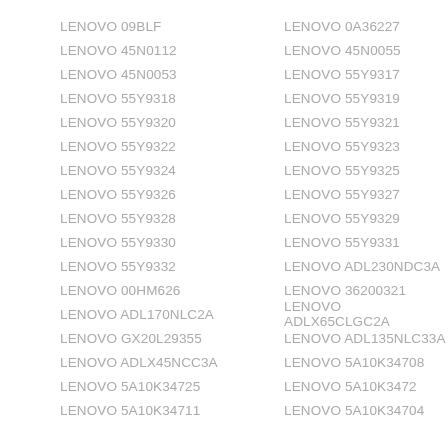LENOVO 09BLF    LENOVO 0A36227
LENOVO 45N0112    LENOVO 45N0055
LENOVO 45N0053    LENOVO 55Y9317
LENOVO 55Y9318    LENOVO 55Y9319
LENOVO 55Y9320    LENOVO 55Y9321
LENOVO 55Y9322    LENOVO 55Y9323
LENOVO 55Y9324    LENOVO 55Y9325
LENOVO 55Y9326    LENOVO 55Y9327
LENOVO 55Y9328    LENOVO 55Y9329
LENOVO 55Y9330    LENOVO 55Y9331
LENOVO 55Y9332    LENOVO ADL230NDC3A
LENOVO 00HM626    LENOVO 36200321
LENOVO ADL170NLC2A    LENOVO ADLX65CLGC2A
LENOVO GX20L29355    LENOVO ADL135NLC33A
LENOVO ADLX45NCC3A    LENOVO 5A10K34708
LENOVO 5A10K34725    LENOVO 5A10K3472
LENOVO 5A10K34711    LENOVO 5A10K34704